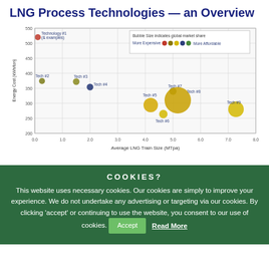LNG Process Technologies — an Overview
[Figure (bubble-chart): Bubble chart showing 9 technologies by Average LNG Train Size (x-axis, 0-8 MTpa) vs Energy Cost (y-axis, 200-550 kWh/ton). Bubble size indicates global market share. Color indicates cost: red=more expensive, yellow/green=more affordable. Tech#1 (~0.1, ~520, small, red), Tech#2 (~0.2, ~375, small, olive), Tech#3 (~1.5, ~370, small, olive-yellow), Tech#4 (~2.0, ~355, small, navy), Tech#5 (~4.2, ~295, medium, yellow), Tech#6 (~4.6, ~265, small, yellow), Tech#7 (~5.0, ~340, small, olive), Tech#8 (~5.1, ~310, large, yellow-gold), Tech#9 (~7.3, ~280, medium, yellow)]
COOKIES?
This website uses necessary cookies. Our cookies are simply to improve your experience. We do not undertake any advertising or targeting via our cookies. By clicking 'accept' or continuing to use the website, you consent to our use of cookies.